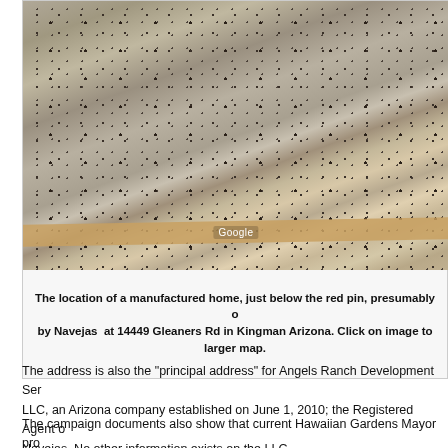[Figure (photo): Aerial satellite photo (Google Maps) of desert scrubland with scattered dark shrubs and a road visible at the bottom of the frame, with a Google watermark.]
The location of a manufactured home, just below the red pin, presumably owned by Navejas at 14449 Gleaners Rd in Kingman Arizona. Click on image to larger map.
The address is also the “principal address” for Angels Ranch Development Services LLC, an Arizona company established on June 1, 2010; the Registered Agent of Navejas. No other information exists on the LLC.
The campaign documents also show that current Hawaiian Gardens Mayor pro Reynaldo “Rey” Rodriguez gave $200 to Trimble’s campaign on Oct. 2, and